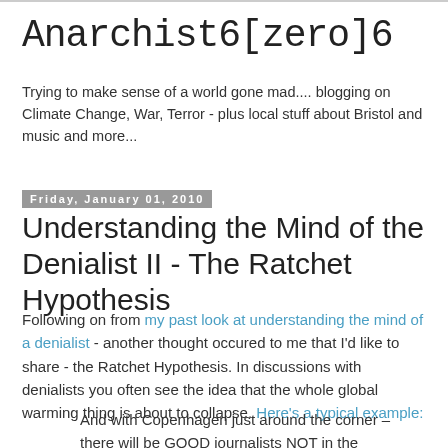Anarchist6[zero]6
Trying to make sense of a world gone mad.... blogging on Climate Change, War, Terror - plus local stuff about Bristol and music and more...
Friday, January 01, 2010
Understanding the Mind of the Denialist II - The Ratchet Hypothesis
Following on from my past look at understanding the mind of a denialist - another thought occured to me that I'd like to share - the Ratchet Hypothesis. In discussions with denialists you often see the idea that the whole global warming thing is about to collapse. Here's a typical example:
And with Copenhagen just around the corner – there will be GOOD journalists NOT in the